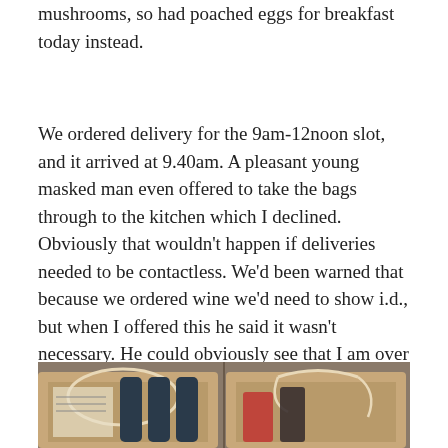mushrooms, so had poached eggs for breakfast today instead.
We ordered delivery for the 9am-12noon slot, and it arrived at 9.40am. A pleasant young masked man even offered to take the bags through to the kitchen which I declined. Obviously that wouldn't happen if deliveries needed to be contactless. We'd been warned that because we ordered wine we'd need to show i.d., but when I offered this he said it wasn't necessary. He could obviously see that I am over 18. The delivery came complete with the usual vouchers and stickers that you get instore.
[Figure (photo): Photo of grocery delivery bags on a floor, containing bottles and wrapped items with string handles, viewed from above.]